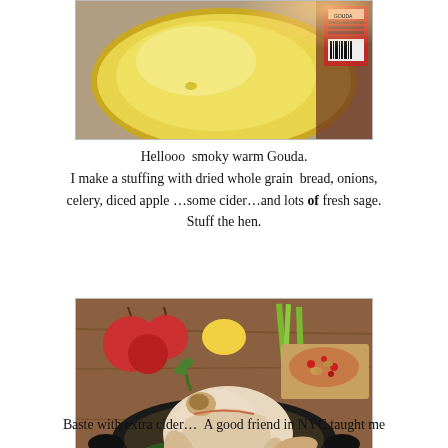[Figure (photo): Close-up photo of a wedge of smoky warm Gouda cheese with yellow interior, on a wooden surface with packaging visible in the background.]
Hellooo  smoky warm Gouda.
I make a stuffing with dried whole grain  bread, onions, celery, diced apple …some cider…and lots of fresh sage.
Stuff the hen.
[Figure (photo): A raw whole hen stuffed and placed in a dark Dutch oven pan, surrounded by fresh basil/spinach leaves. In the background are colorful apples, a yellow fruit, celery stalks, and a cutting board with a cranberry/nut stuffing mixture.]
Baste with extra cider…  A good friend in NYC taught me